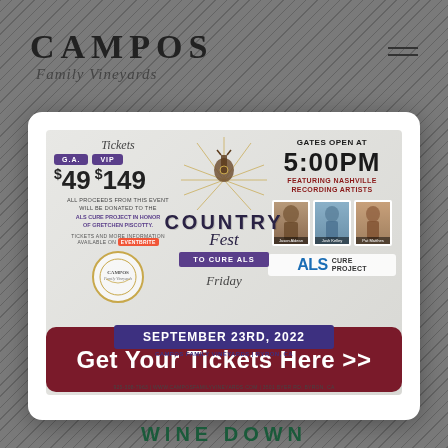CAMPOS Family Vineyards
[Figure (infographic): Country Fest to Cure ALS event flyer. Tickets GA $49 VIP $149. Gates open at 5:00PM Friday September 23rd, 2022 at Campos Family Vineyards, Byron CA. Featuring Nashville Recording Artists. All proceeds donated to ALS Cure Project in honor of Gretchen Piscotty.]
Get Your Tickets Here >>
WINE DOWN